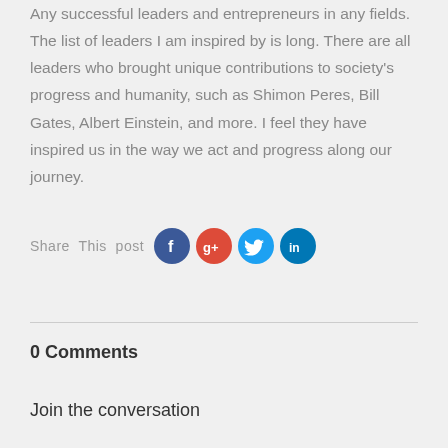Any successful leaders and entrepreneurs in any fields. The list of leaders I am inspired by is long. There are all leaders who brought unique contributions to society's progress and humanity, such as Shimon Peres, Bill Gates, Albert Einstein, and more. I feel they have inspired us in the way we act and progress along our journey.
Share This post [Facebook] [Google+] [Twitter] [LinkedIn]
0 Comments
Join the conversation